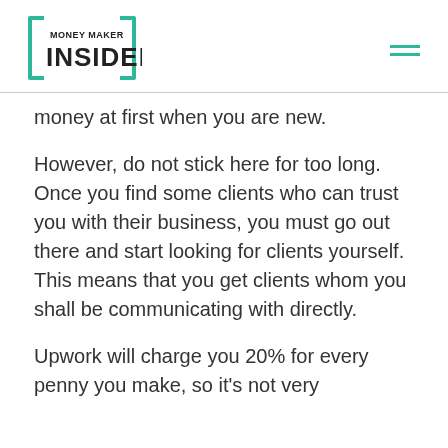MONEY MAKER INSIDER
money at first when you are new.
However, do not stick here for too long. Once you find some clients who can trust you with their business, you must go out there and start looking for clients yourself. This means that you get clients whom you shall be communicating with directly.
Upwork will charge you 20% for every penny you make, so it's not very